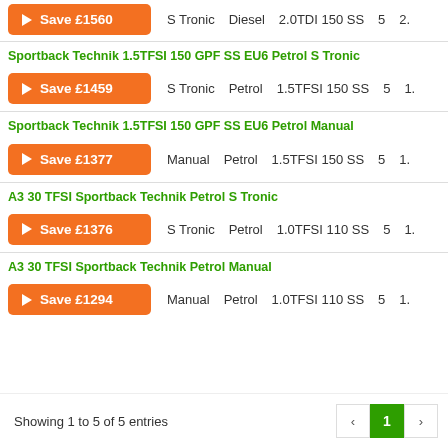Save £1560 | S Tronic | Diesel | 2.0TDI 150 SS | 5
Sportback Technik 1.5TFSI 150 GPF SS EU6 Petrol S Tronic
Save £1459 | S Tronic | Petrol | 1.5TFSI 150 SS | 5
Sportback Technik 1.5TFSI 150 GPF SS EU6 Petrol Manual
Save £1377 | Manual | Petrol | 1.5TFSI 150 SS | 5
A3 30 TFSI Sportback Technik Petrol S Tronic
Save £1376 | S Tronic | Petrol | 1.0TFSI 110 SS | 5
A3 30 TFSI Sportback Technik Petrol Manual
Save £1294 | Manual | Petrol | 1.0TFSI 110 SS | 5
Showing 1 to 5 of 5 entries